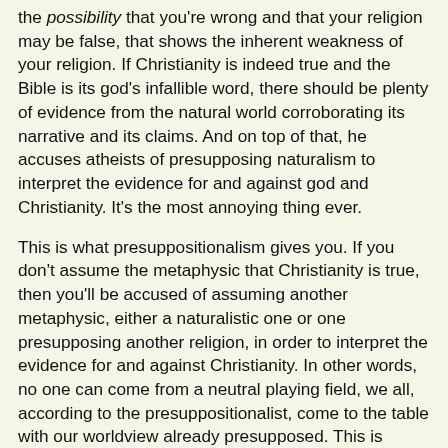the possibility that you're wrong and that your religion may be false, that shows the inherent weakness of your religion. If Christianity is indeed true and the Bible is its god's infallible word, there should be plenty of evidence from the natural world corroborating its narrative and its claims. And on top of that, he accuses atheists of presupposing naturalism to interpret the evidence for and against god and Christianity. It's the most annoying thing ever.
This is what presuppositionalism gives you. If you don't assume the metaphysic that Christianity is true, then you'll be accused of assuming another metaphysic, either a naturalistic one or one presupposing another religion, in order to interpret the evidence for and against Christianity. In other words, no one can come from a neutral playing field, we all, according to the presuppositionalist, come to the table with our worldview already presupposed. This is because the presuppositionalist knows he can't win without presupposing his religion to be true. If going just by the evidence, and a debate over whether evidence bests fits his Christian worldview, or the naturalists worldview, the naturalist will do better.